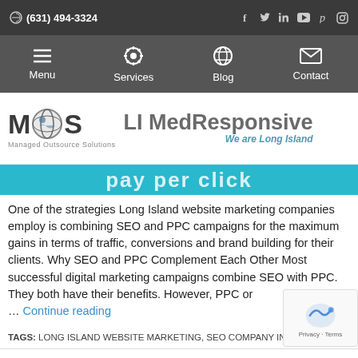(631) 494-3324
[Figure (screenshot): Navigation bar with Menu, Services, Blog, Contact icons on dark background]
[Figure (logo): MOS LI MedResponsive logo - Managed Outsource Solutions, We are Long Island]
[Figure (other): Teal banner with text 'pay per click']
One of the strategies Long Island website marketing companies employ is combining SEO and PPC campaigns for the maximum gains in terms of traffic, conversions and brand building for their clients. Why SEO and PPC Complement Each Other Most successful digital marketing campaigns combine SEO with PPC. They both have their benefits. However, PPC or … Continue reading
TAGS: LONG ISLAND WEBSITE MARKETING, SEO COMPANY IN LON…